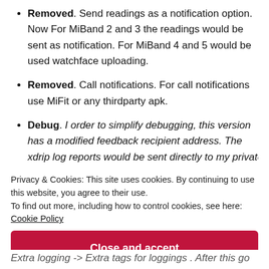Removed. Send readings as a notification option. Now For MiBand 2 and 3 the readings would be sent as notification. For MiBand 4 and 5 would be used watchface uploading.
Removed. Call notifications. For call notifications use MiFit or any thirdparty apk.
Debug. I order to simplify debugging, this version has a modified feedback recipient address. The xdrip log reports would be sent directly to my private [truncated]
Privacy & Cookies: This site uses cookies. By continuing to use this website, you agree to their use.
To find out more, including how to control cookies, see here:
Cookie Policy
Close and accept
Extra logging -> Extra tags for loggings . After this go [truncated]